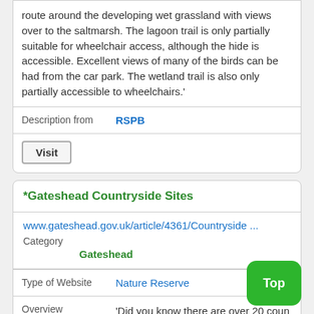route around the developing wet grassland with views over to the saltmarsh. The lagoon trail is only partially suitable for wheelchair access, although the hide is accessible. Excellent views of many of the birds can be had from the car park. The wetland trail is also only partially accessible to wheelchairs.'
Description from   RSPB
Visit
*Gateshead Countryside Sites
www.gateshead.gov.uk/article/4361/Countryside ...
Category   Gateshead
Type of Website   Nature Reserve
Overview   'Did you know there are over 20 countryside sites in Gateshead including ancient meadows